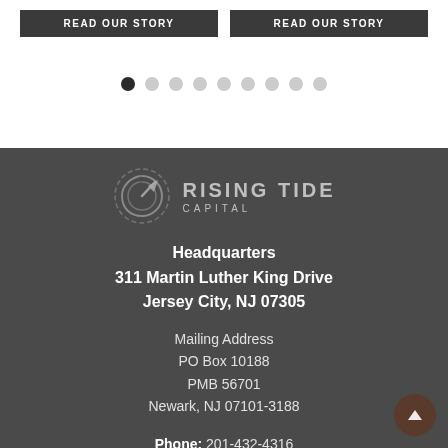[Figure (other): Two dark READ OUR STORY buttons side by side at the top of the page]
[Figure (other): Pagination dots row: first dot is filled/active (black), remaining 8 dots are light grey]
[Figure (logo): Rising Tide Capital logo: circular arrow icon with RISING TIDE CAPITAL text in grey on dark background]
Headquarters
311 Martin Luther King Drive
Jersey City, NJ 07305
Mailing Address
PO Box 10188
PMB 56701
Newark, NJ 07101-3188
Phone: 201-432-4316
Fax: 201-432-3504